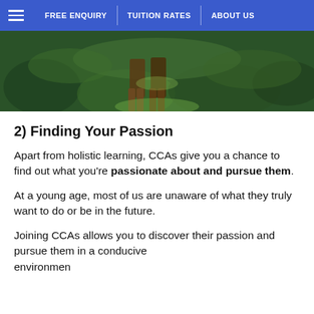FREE ENQUIRY | TUITION RATES | ABOUT US
[Figure (photo): Two people standing in a lush green grassy field, viewed from behind, lower body visible with brown boots]
2) Finding Your Passion
Apart from holistic learning, CCAs give you a chance to find out what you're passionate about and pursue them.
At a young age, most of us are unaware of what they truly want to do or be in the future.
Joining CCAs allows you to discover their passion and pursue them in a conducive environment.